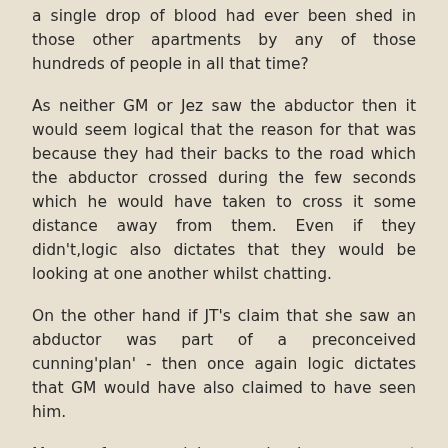a single drop of blood had ever been shed in those other apartments by any of those hundreds of people in all that time?
As neither GM or Jez saw the abductor then it would seem logical that the reason for that was because they had their backs to the road which the abductor crossed during the few seconds which he would have taken to cross it some distance away from them. Even if they didn't,logic also dictates that they would be looking at one another whilst chatting.
On the other hand if JT's claim that she saw an abductor was part of a preconceived cunning'plan' - then once again logic dictates that GM would have also claimed to have seen him.
Many of your claims and views are not consistent with the PJ files or the FSS reports. However they are completely in line with much of